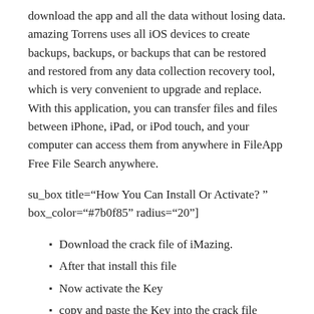download the app and all the data without losing data. amazing Torrens uses all iOS devices to create backups, backups, or backups that can be restored and restored from any data collection recovery tool, which is very convenient to upgrade and replace. With this application, you can transfer files and files between iPhone, iPad, or iPod touch, and your computer can access them from anywhere in FileApp Free File Search anywhere.
su_box title="How You Can Install Or Activate? " box_color="#7b0f85" radius="20"]
Download the crack file of iMazing.
After that install this file
Now activate the Key
copy and paste the Key into the crack file
Wait For a seconds
All is done
Enjoy[/su_box]